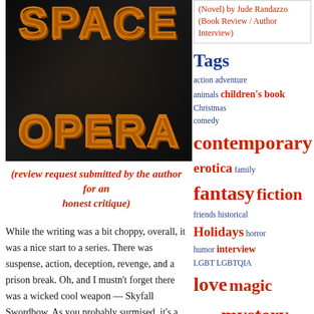[Figure (photo): Book cover for Space Opera on black background with orange neon-style lettering]
(review request submitted by the author for an honest critique)
While the writing was a bit choppy, overall, it was a nice start to a series. There was suspense, action, deception, revenge, and a prison break. Oh, and I mustn't forget there was a wicked cool weapon — Skyfall Swordbow. As you probably surmised, it's a weapon used as a sword or a crossbow. That weapon wasn't the only tool at Mara's disposal. She also could fire
(Novel) by Jude Randazzo (Book Review / Author Interview)
Tags
action adventure animals children's book Christmas comedy contemporary erotica family fantasy fiction friends historical Holidays horror humor interview LGBT LGBTQIA love magic military mystery ménage novella paranormal